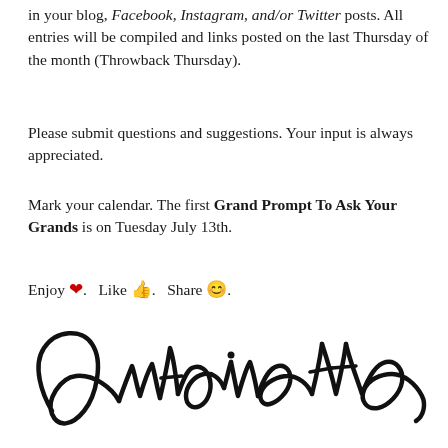in your blog, Facebook, Instagram, and/or Twitter posts. All entries will be compiled and links posted on the last Thursday of the month (Throwback Thursday).
Please submit questions and suggestions. Your input is always appreciated.
Mark your calendar. The first Grand Prompt To Ask Your Grands is on Tuesday July 13th.
Enjoy ❤.   Like 👍.   Share 😊.
[Figure (illustration): Handwritten cursive signature reading 'Antoinette' in black ink on white background]